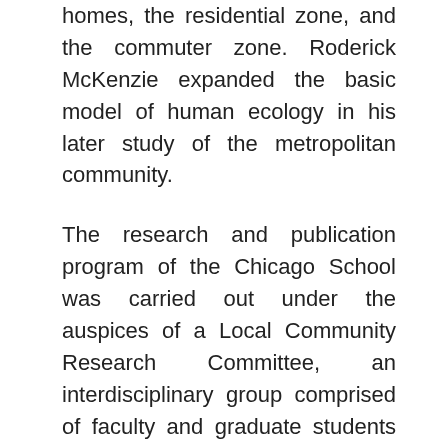homes, the residential zone, and the commuter zone. Roderick McKenzie expanded the basic model of human ecology in his later study of the metropolitan community.
The research and publication program of the Chicago School was carried out under the auspices of a Local Community Research Committee, an interdisciplinary group comprised of faculty and graduate students from sociology, political science (Charles Merriam), and anthropology (Robert Redfield). Support came from the Laura Spellman Rockefeller Memorial (more than $600,000 from 1924 to 1934). Graduate students under the guidance of Park and Burgess mapped local community areas and studied the spatial organization of juvenile delinquency, family disorganization, and cultural life in the city. The research program produced